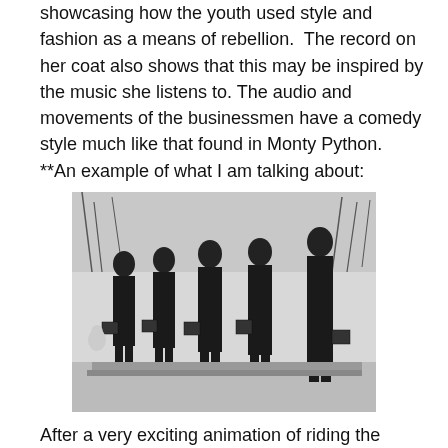showcasing how the youth used style and fashion as a means of rebellion.  The record on her coat also shows that this may be inspired by the music she listens to. The audio and movements of the businessmen have a comedy style much like that found in Monty Python. **An example of what I am talking about:
[Figure (photo): Black and white photograph of five men in dark suits and bowler hats standing in a line outdoors in a snowy setting, each carrying a briefcase or bag.]
After a very exciting animation of riding the British